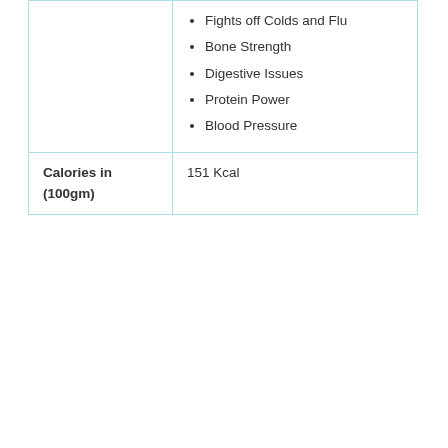|  | Fights off Colds and Flu
Bone Strength
Digestive Issues
Protein Power
Blood Pressure |
| Calories in (100gm) | 151 Kcal |